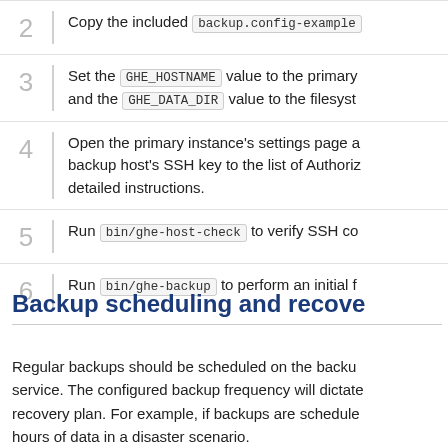2 Copy the included backup.config-example
3 Set the GHE_HOSTNAME value to the primary and the GHE_DATA_DIR value to the filesyst
4 Open the primary instance's settings page a backup host's SSH key to the list of Authoriz detailed instructions.
5 Run bin/ghe-host-check to verify SSH co
6 Run bin/ghe-backup to perform an initial f
Backup scheduling and recove
Regular backups should be scheduled on the backup service. The configured backup frequency will dictate recovery plan. For example, if backups are schedule hours of data in a disaster scenario.